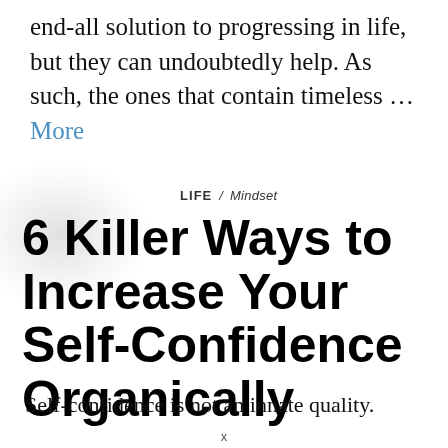end-all solution to progressing in life, but they can undoubtedly help. As such, the ones that contain timeless … More
LIFE / Mindset
6 Killer Ways to Increase Your Self-Confidence Organically
Self-confidence is not an innate quality.